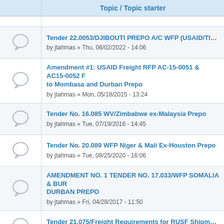|  | Topic / Topic starter |
| --- | --- |
| [icon] | Tender 22.0053/DJIBOUTI PREPO A/C WFP (USAID/TITLE II) DJ...
by jtahmas » Thu, 06/02/2022 - 14:06 |
| [icon] | Amendment #1: USAID Freight RFP AC-15-0051 & AC15-0052 F... to Mombasa and Durban Prepo
by jtahmas » Mon, 05/18/2015 - 13:24 |
| [icon] | Tender No. 16.085 WV/Zimbabwe ex-Malaysia Prepo
by jtahmas » Tue, 07/19/2016 - 14:45 |
| [icon] | Tender No. 20.089 WFP Niger & Mali Ex-Houston Prepo
by jtahmas » Tue, 08/25/2020 - 16:06 |
| [icon] | AMENDMENT NO. 1 TENDER NO. 17.033/WFP SOMALIA & BUR... DURBAN PREPO
by jtahmas » Fri, 04/28/2017 - 11:50 |
| [icon] | Tender 21.075/Freight Requirements for RUSF Shipments - BPA...
by jtahmas » Thu, 09/02/2021 - 10:40 |